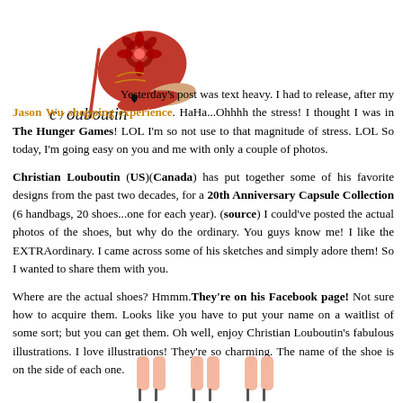[Figure (illustration): Illustration of a red high-heel shoe with a flower/bow decoration at the toe, and a handwritten-style 'Louboutin' signature below it with a small heart.]
Yesterday's post was text heavy. I had to release, after my Jason Wu shopping experience. HaHa...Ohhhh the stress! I thought I was in The Hunger Games! LOL I'm so not use to that magnitude of stress. LOL So today, I'm going easy on you and me with only a couple of photos.

Christian Louboutin (US)(Canada) has put together some of his favorite designs from the past two decades, for a 20th Anniversary Capsule Collection (6 handbags, 20 shoes...one for each year). (source) I could've posted the actual photos of the shoes, but why do the ordinary. You guys know me! I like the EXTRAordinary. I came across some of his sketches and simply adore them! So I wanted to share them with you.

Where are the actual shoes? Hmmm.They're on his Facebook page! Not sure how to acquire them. Looks like you have to put your name on a waitlist of some sort; but you can get them. Oh well, enjoy Christian Louboutin's fabulous illustrations. I love illustrations! They're so charming. The name of the shoe is on the side of each one.
[Figure (illustration): Bottom partial illustration showing legs/feet in heels — three figures cropped at the bottom of the page.]